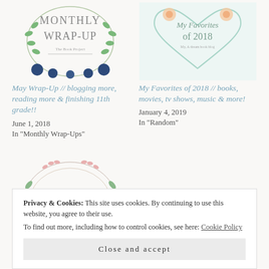[Figure (illustration): Monthly Wrap-Up badge with floral wreath decoration]
May Wrap-Up // blogging more, reading more & finishing 11th grade!!
June 1, 2018
In "Monthly Wrap-Ups"
[Figure (illustration): My Favorites of 2018 badge with mint green heart and floral decoration]
My Favorites of 2018 // books, movies, tv shows, music & more!
January 4, 2019
In "Random"
[Figure (illustration): Book Tag badge with floral wreath decoration]
The Mid-Year Book Freak Out Tag...
Privacy & Cookies: This site uses cookies. By continuing to use this website, you agree to their use.
To find out more, including how to control cookies, see here: Cookie Policy
Close and accept